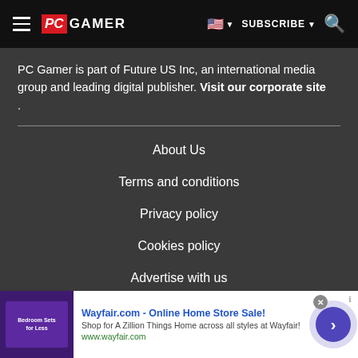PC GAMER | SUBSCRIBE | Search
PC Gamer is part of Future US Inc, an international media group and leading digital publisher. Visit our corporate site .
About Us
Terms and conditions
Privacy policy
Cookies policy
Advertise with us
[Figure (screenshot): Wayfair.com advertisement banner: Online Home Store Sale! Shop for A Zillion Things Home across all styles at Wayfair! www.wayfair.com]